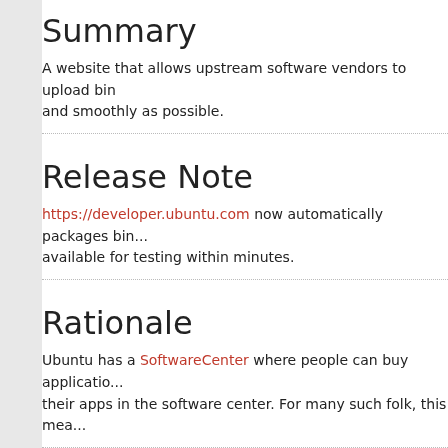Summary
A website that allows upstream software vendors to upload bin... and smoothly as possible.
Release Note
https://developer.ubuntu.com now automatically packages bin... available for testing within minutes.
Rationale
Ubuntu has a SoftwareCenter where people can buy applicatio... their apps in the software center. For many such folk, this mea...
User stories
Initial upload
As a software developer, I want to upload my new application t... Software Center and people can buy it.